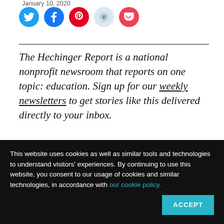January 10, 2020
[Figure (infographic): Row of five social media share buttons: Twitter (blue circle), Facebook (blue circle), Pinterest (red circle), Reddit (light blue circle), Pocket (pink/red circle)]
The Hechinger Report is a national nonprofit newsroom that reports on one topic: education. Sign up for our weekly newsletters to get stories like this delivered directly to your inbox.
MELROSE, Mass. —
[Figure (photo): Partial photo of a store or classroom scene, mostly obscured by cookie banner]
This website uses cookies as well as similar tools and technologies to understand visitors' experiences. By continuing to use this website, you consent to our usage of cookies and similar technologies, in accordance with our cookie policy.